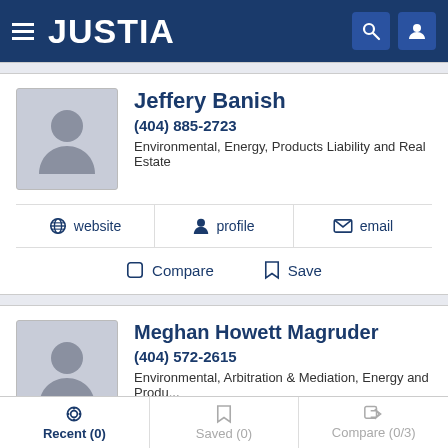JUSTIA
Jeffery Banish
(404) 885-2723
Environmental, Energy, Products Liability and Real Estate
website  profile  email
Compare  Save
Meghan Howett Magruder
(404) 572-2615
Environmental, Arbitration & Mediation, Energy and Produ...
website  profile  email
Recent (0)  Saved (0)  Compare (0/3)